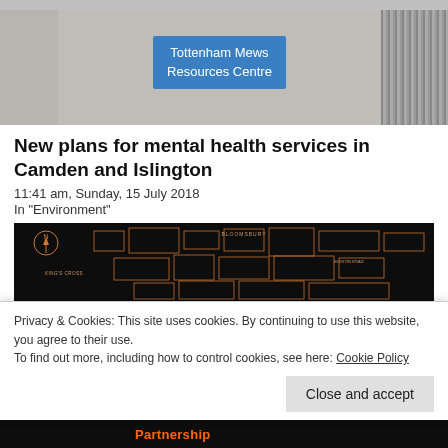[Figure (photo): Photograph of a building with a blue sign reading 'Tottenham Mews Resources Centre', with a concrete wall on the left and corrugated metal sheeting on the right.]
New plans for mental health services in Camden and Islington
11:41 am, Sunday, 15 July 2018
In "Environment"
[Figure (map): Dark-background map showing a street plan, appearing to depict an area with labels including Bloomsbury, King's Cross, and other London neighbourhoods. Buildings shown in orange/brown outline.]
Privacy & Cookies: This site uses cookies. By continuing to use this website, you agree to their use.
To find out more, including how to control cookies, see here: Cookie Policy
Close and accept
[Figure (photo): Partial view of a dark image with orange text reading 'Partnership' at the bottom of the page.]